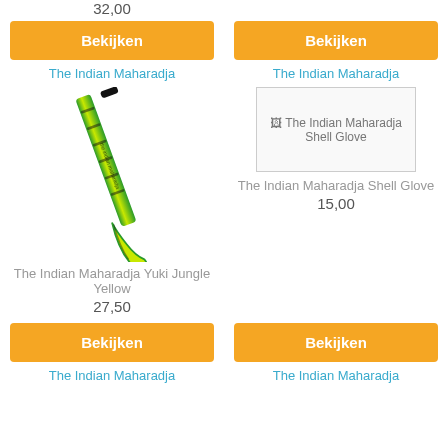32,00
Bekijken
Bekijken
The Indian Maharadja
The Indian Maharadja
[Figure (photo): The Indian Maharadja Yuki Jungle Yellow hockey stick, green and yellow with black design]
[Figure (photo): Broken/missing image placeholder for The Indian Maharadja Shell Glove]
The Indian Maharadja Shell Glove
The Indian Maharadja Yuki Jungle Yellow
15,00
27,50
Bekijken
Bekijken
The Indian Maharadja
The Indian Maharadja